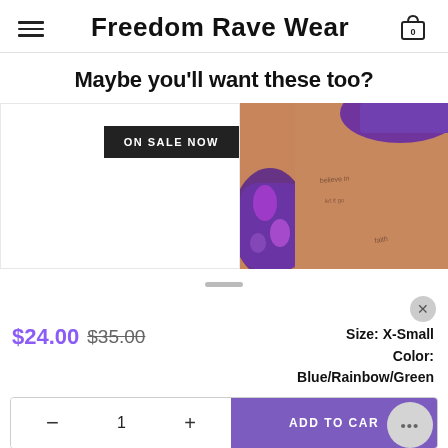Freedom Rave Wear
Maybe you'll want these too?
[Figure (photo): Product listing with ON SALE NOW badge on left and product photo of person wearing purple/blue rave wear on right]
$24.00 $35.00
Size: X-Small
Color: Blue/Rainbow/Green
− 1 + ADD TO CAR